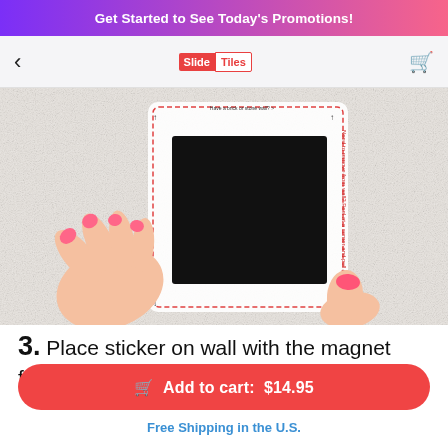Get Started to See Today's Promotions!
[Figure (photo): A hand with pink nails pressing a black magnetic tile sticker against a white textured wall, showing the installation process.]
3. Place sticker on wall with the magnet facing outward
Add to cart: $14.95
Free Shipping in the U.S.